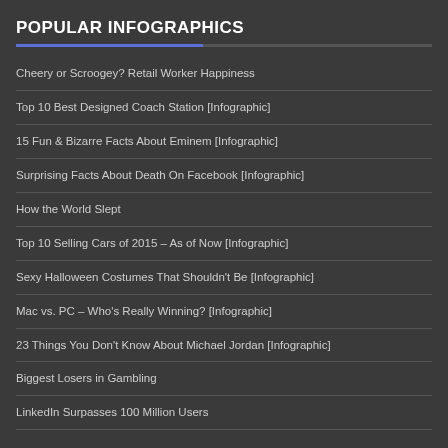POPULAR INFOGRAPHICS
Cheery or Scroogey? Retail Worker Happiness
Top 10 Best Designed Coach Station [Infographic]
15 Fun & Bizarre Facts About Eminem [Infographic]
Surprising Facts About Death On Facebook [Infographic]
How the World Slept
Top 10 Selling Cars of 2015 – As of Now [Infographic]
Sexy Halloween Costumes That Shouldn't Be [Infographic]
Mac vs. PC – Who's Really Winning? [Infographic]
23 Things You Don't Know About Michael Jordan [Infographic]
Biggest Losers in Gambling
LinkedIn Surpasses 100 Million Users